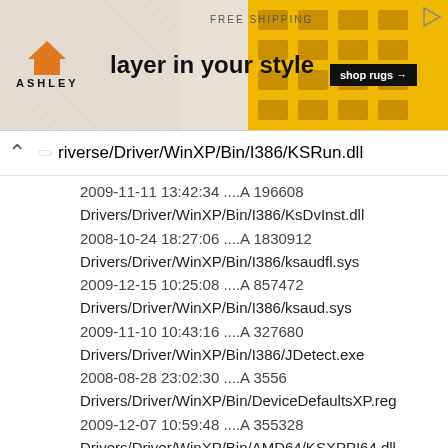[Figure (screenshot): Ashley Furniture advertisement banner with orange house logo, 'layer in your style' text, yellow geometric pattern, and 'shop rugs' button. 'FREE SHIPPING' text at top.]
riverse/Driver/WinXP/Bin/I386/KSRun.dll
2009-11-11 13:42:34 ....A 196608
Drivers/Driver/WinXP/Bin/I386/KsDvInst.dll
2008-10-24 18:27:06 ....A 1830912
Drivers/Driver/WinXP/Bin/I386/ksaudfl.sys
2009-12-15 10:25:08 ....A 857472
Drivers/Driver/WinXP/Bin/I386/ksaud.sys
2009-11-10 10:43:16 ....A 327680
Drivers/Driver/WinXP/Bin/I386/JDetect.exe
2008-08-28 23:02:30 ....A 3556
Drivers/Driver/WinXP/Bin/DeviceDefaultsXP.reg
2009-12-07 10:59:48 ....A 355328
Drivers/Driver/WinXP/Bin/AMD64/KSXPPI64.dll
2009-12-07 16:10:54 ....A 24064
Drivers/Driver/WinXP/Bin/AMD64/KSRun.dll
2009-11-11 13:43:00 ....A 235520